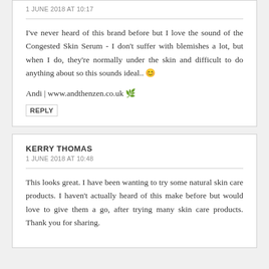1 JUNE 2018 AT 10:17
I've never heard of this brand before but I love the sound of the Congested Skin Serum - I don't suffer with blemishes a lot, but when I do, they're normally under the skin and difficult to do anything about so this sounds ideal.. 😊
Andi | www.andthenzen.co.uk 🌿
REPLY
KERRY THOMAS
1 JUNE 2018 AT 10:48
This looks great. I have been wanting to try some natural skin care products. I haven't actually heard of this make before but would love to give them a go, after trying many skin care products. Thank you for sharing.